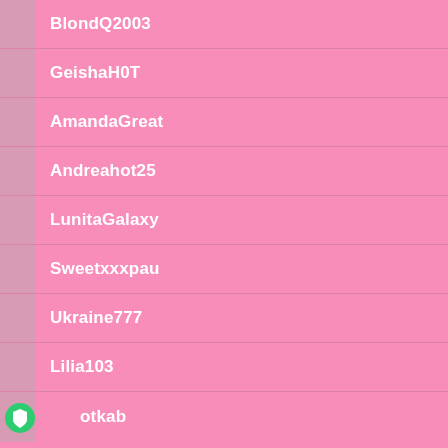BlondQ2003
GeishaH0T
AmandaGreat
Andreahot25
LunitaGalaxy
Sweetxxxpau
Ukraine777
Lilia103
otkab